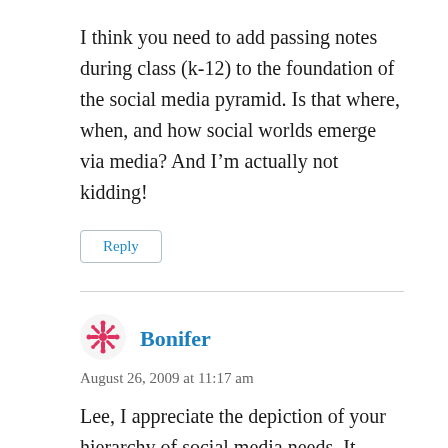I think you need to add passing notes during class (k-12) to the foundation of the social media pyramid. Is that where, when, and how social worlds emerge via media? And I'm actually not kidding!
Reply
[Figure (illustration): Pink snowflake-style avatar icon for user Bonifer]
Bonifer
August 26, 2009 at 11:17 am
Lee, I appreciate the depiction of your hierarchy of social media needs. It prompts a worthwhile dialogue here that mirrors one that's happening in every networked business